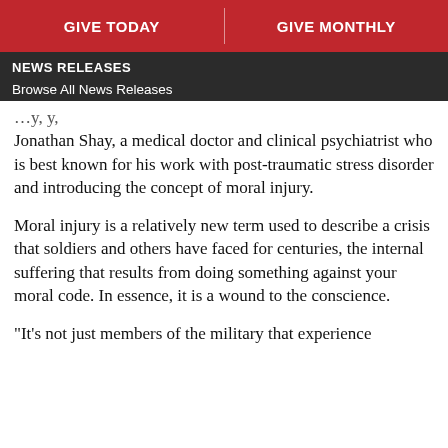GIVE TODAY | GIVE MONTHLY
NEWS RELEASES
Browse All News Releases
Jonathan Shay, a medical doctor and clinical psychiatrist who is best known for his work with post-traumatic stress disorder and introducing the concept of moral injury.
Moral injury is a relatively new term used to describe a crisis that soldiers and others have faced for centuries, the internal suffering that results from doing something against your moral code. In essence, it is a wound to the conscience.
“It’s not just members of the military that experience